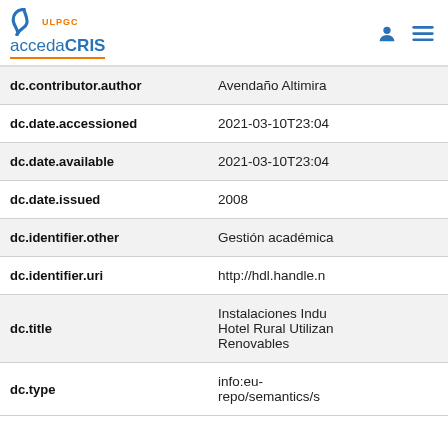ULPGC accedaCRIS
| Field | Value |
| --- | --- |
| dc.contributor.author | Avendaño Altimira |
| dc.date.accessioned | 2021-03-10T23:04 |
| dc.date.available | 2021-03-10T23:04 |
| dc.date.issued | 2008 |
| dc.identifier.other | Gestión académica |
| dc.identifier.uri | http://hdl.handle.n |
| dc.title | Instalaciones Indu Hotel Rural Utilizar Renovables |
| dc.type | info:eu-repo/semantics/s |